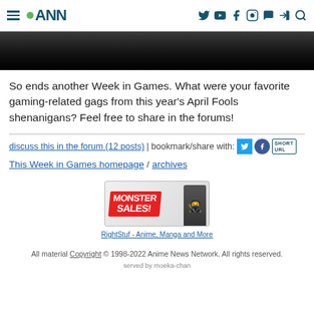ANN - Anime News Network
[Figure (photo): Cropped dark hero image at top of article]
So ends another Week in Games. What were your favorite gaming-related gags from this year's April Fools shenanigans? Feel free to share in the forums!
discuss this in the forum (12 posts) | bookmark/share with: [Twitter] [Facebook] SHORT URL
This Week in Games homepage / archives
[Figure (illustration): Monster Sales! advertisement banner for RightStuf - Anime, Manga and More]
RightStuf - Anime, Manga and More
All material Copyright © 1998-2022 Anime News Network. All rights reserved.
served by moeka-chan